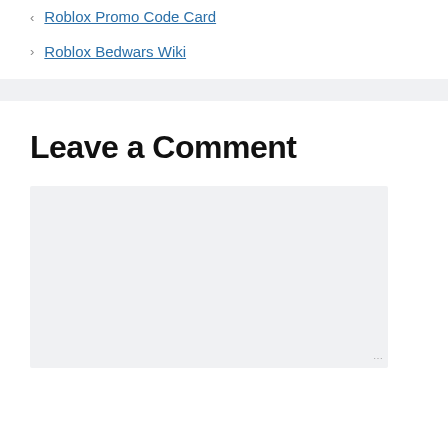< Roblox Promo Code Card
> Roblox Bedwars Wiki
Leave a Comment
[Figure (screenshot): Empty comment text area input box with light gray background and resize handle at bottom right]